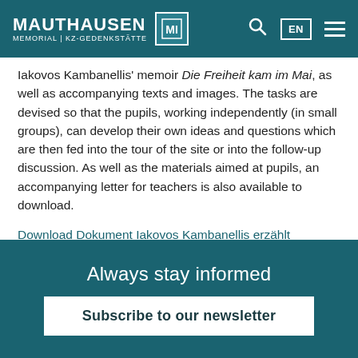MAUTHAUSEN MEMORIAL | KZ-GEDENKSTÄTTE
Iakovos Kambanellis' memoir Die Freiheit kam im Mai, as well as accompanying texts and images. The tasks are devised so that the pupils, working independently (in small groups), can develop their own ideas and questions which are then fed into the tour of the site or into the follow-up discussion. As well as the materials aimed at pupils, an accompanying letter for teachers is also available to download.
Download Dokument Iakovos Kambanellis erzählt (German)
Downlaod Begleitbrief zu Iakovos Kambanellis erzählt (German)
Always stay informed
Subscribe to our newsletter